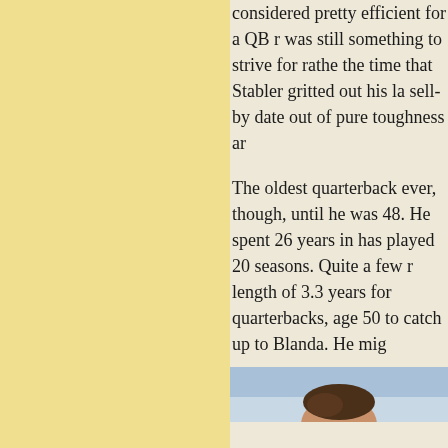considered pretty efficient for a QB r... was still something to strive for rathe... the time that Stabler gritted out his la... sell-by date out of pure toughness ar...
The oldest quarterback ever, though, ... until he was 48. He spent 26 years in... has played 20 seasons. Quite a few r... length of 3.3 years for quarterbacks,... age 50 to catch up to Blanda. He mig...
[Figure (photo): Partial photo of a person's head and shoulders against a light blue sky background, cropped at the top of the page.]